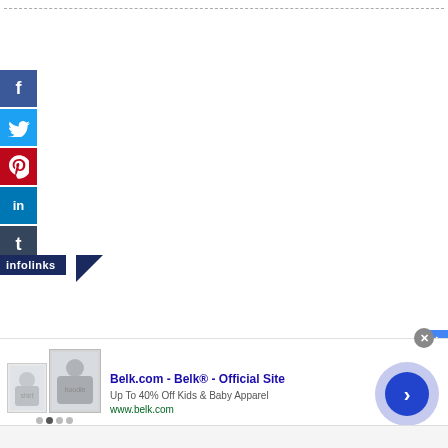[Figure (infographic): Social media share buttons on the left side: Facebook (dark blue, f), Twitter (light blue, bird), Pinterest (red, p), LinkedIn (blue, in), Tumblr (dark navy, t)]
[Figure (logo): Infolinks badge/banner at bottom of social bar]
[Figure (screenshot): Advertisement banner for Belk.com showing kids clothing images, title 'Belk.com - Belk® - Official Site', description 'Up To 40% Off Kids & Baby Apparel', URL 'www.belk.com', with navigation arrow circle on right, close button, and ad provider icon]